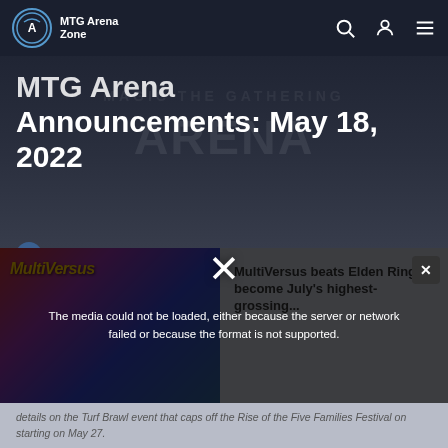MTG Arena Zone
MTG Arena Announcements: May 18, 2022
MTG ARENA ZONE · MAY 18, 2022 · NEWS · MTG ARENA ANNOUNCEMENTS
[Figure (screenshot): Media player showing MultiVersus game image with error message: The media could not be loaded, either because the server or network failed or because the format is not supported. Related article preview: MultiVersus beats Elden Ring to become July's highest-grossing...]
details on the Turf Brawl event that caps off the Rise of the Five Families Festival on starting on May 27.